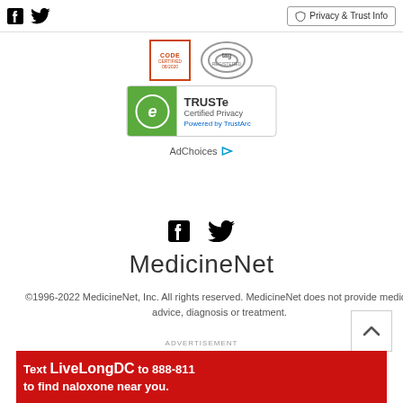Facebook Twitter | Privacy & Trust Info
[Figure (logo): CODE Certified 08/2020 badge and TAG Registered badge]
[Figure (logo): TRUSTe Certified Privacy - Powered by TrustArc badge]
AdChoices
[Figure (logo): Facebook and Twitter social media icons]
MedicineNet
©1996-2022 MedicineNet, Inc. All rights reserved. MedicineNet does not provide medical advice, diagnosis or treatment.
[Figure (other): Back to top arrow button]
ADVERTISEMENT
[Figure (photo): Advertisement banner: Text LiveLongDC to 888-811 to find naloxone near you]